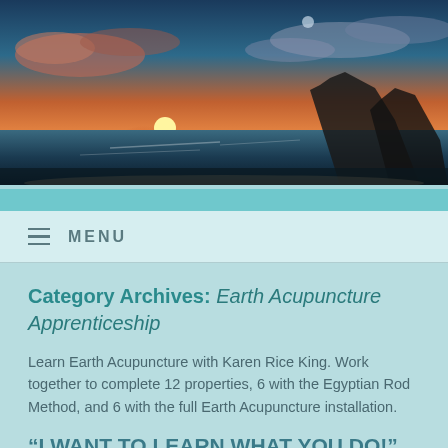[Figure (photo): Panoramic sunset over ocean with dramatic rock formation silhouette and colorful sky with clouds]
MENU
Category Archives: Earth Acupuncture Apprenticeship
Learn Earth Acupuncture with Karen Rice King. Work together to complete 12 properties, 6 with the Egyptian Rod Method, and 6 with the full Earth Acupuncture installation.
“I WANT TO LEARN WHAT YOU DO!” (April, 2018)